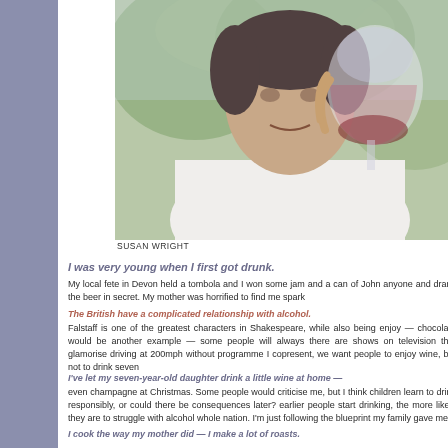[Figure (photo): Man holding a wine glass up to his face, smiling, outdoors with green foliage background. Photo credit: SUSAN WRIGHT]
SUSAN WRIGHT
I was very young when I first got drunk.
My local fete in Devon held a tombola and I won some jam and a can of John anyone and drank the beer in secret. My mother was horrified to find me spark
The British have a complicated relationship with alcohol.
Falstaff is one of the greatest characters in Shakespeare, while also being enjoy — chocolate would be another example — some people will always there are shows on television that glamorise driving at 200mph without programme I copresent, we want people to enjoy wine, but not to drink seven
I've let my seven-year-old daughter drink a little wine at home —
even champagne at Christmas. Some people would criticise me, but I think children learn to drink responsibly, or could there be consequences later? earlier people start drinking, the more likely they are to struggle with alcohol whole nation. I'm just following the blueprint my family gave me.
I cook the way my mother did — I make a lot of roasts.
She also had a wonderful recipe for vinaigrette that got me into eating